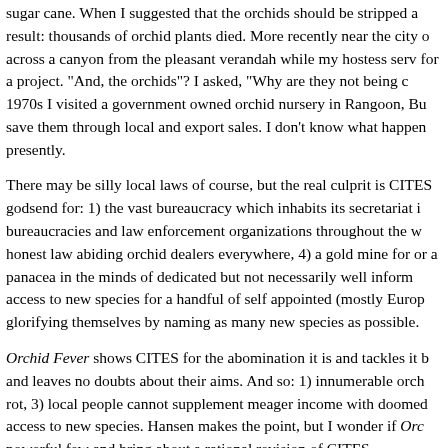sugar cane. When I suggested that the orchids should be stripped a result: thousands of orchid plants died. More recently near the city o across a canyon from the pleasant verandah while my hostess serv for a project. "And, the orchids"? I asked, "Why are they not being c 1970s I visited a government owned orchid nursery in Rangoon, Bu save them through local and export sales. I don't know what happen presently.
There may be silly local laws of course, but the real culprit is CITES godsend for: 1) the vast bureaucracy which inhabits its secretariat i bureaucracies and law enforcement organizations throughout the w honest law abiding orchid dealers everywhere, 4) a gold mine for or a panacea in the minds of dedicated but not necessarily well inform access to new species for a handful of self appointed (mostly Europ glorifying themselves by naming as many new species as possible.
Orchid Fever shows CITES for the abomination it is and tackles it b and leaves no doubts about their aims. And so: 1) innumerable orch rot, 3) local people cannot supplement meager income with doomed access to new species. Hansen makes the point, but I wonder if Orc powerful few and bring about a rational revision of CITES.
Exceptions exist, of course, and Orchid Fever concludes with the st reginae Walter in Minnesota. The Minnesota State Departments of